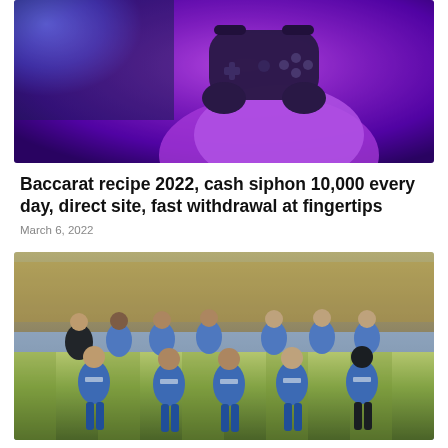[Figure (photo): Person holding a black gaming controller, illuminated by purple/violet light with a blue screen in the background]
Baccarat recipe 2022, cash siphon 10,000 every day, direct site, fast withdrawal at fingertips
March 6, 2022
[Figure (photo): Football/soccer team photo showing players in blue jerseys posed together on a stadium pitch]